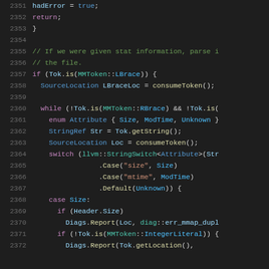[Figure (screenshot): Source code editor showing C++ code lines 2351-2372, dark theme with syntax highlighting. Code includes error handling, stat parsing, token processing with comments and switch statements.]